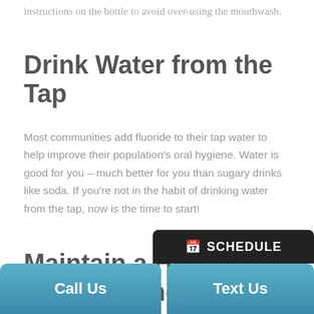instructions on the bottle to avoid over-using the mouthwash.
Drink Water from the Tap
Most communities add fluoride to their tap water to help improve their population's oral hygiene. Water is good for you – much better for you than sugary drinks like soda. If you're not in the habit of drinking water from the tap, now is the time to start!
Maintain a Healthy Oral Hygiene Routine
Brush your teeth twice per day: once in the morning and once at night. If your teeth feel yucky during the day, feel free to brush your teeth an extra too... ...aste... ...urse for